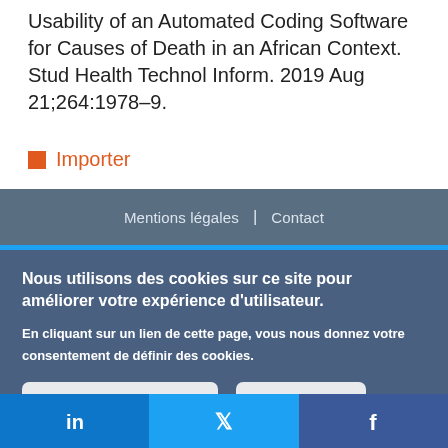Usability of an Automated Coding Software for Causes of Death in an African Context. Stud Health Technol Inform. 2019 Aug 21;264:1978–9.
Importer
Mentions légales | Contact
Nous utilisons des cookies sur ce site pour améliorer votre expérience d'utilisateur.
En cliquant sur un lien de cette page, vous nous donnez votre consentement de définir des cookies.
Oui, je suis d'accord
Plus d'infos
[Figure (other): Social media bar with LinkedIn, Twitter, and Facebook icons]